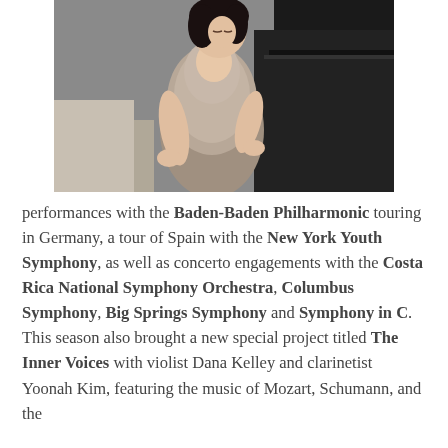[Figure (photo): A woman in a gray lace gown seated near a grand piano, looking downward, photographed in a studio setting.]
performances with the Baden-Baden Philharmonic touring in Germany, a tour of Spain with the New York Youth Symphony, as well as concerto engagements with the Costa Rica National Symphony Orchestra, Columbus Symphony, Big Springs Symphony and Symphony in C. This season also brought a new special project titled The Inner Voices with violist Dana Kelley and clarinetist Yoonah Kim, featuring the music of Mozart, Schumann, and the